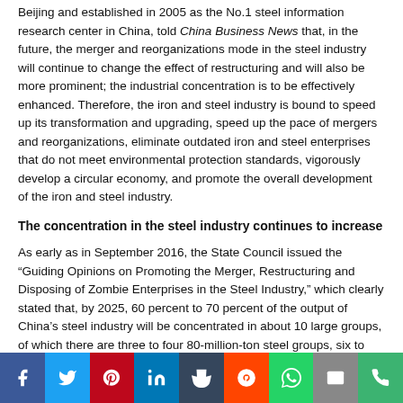Beijing and established in 2005 as the No.1 steel information research center in China, told China Business News that, in the future, the merger and reorganizations mode in the steel industry will continue to change the effect of restructuring and will also be more prominent; the industrial concentration is to be effectively enhanced. Therefore, the iron and steel industry is bound to speed up its transformation and upgrading, speed up the pace of mergers and reorganizations, eliminate outdated iron and steel enterprises that do not meet environmental protection standards, vigorously develop a circular economy, and promote the overall development of the iron and steel industry.
The concentration in the steel industry continues to increase
As early as in September 2016, the State Council issued the “Guiding Opinions on Promoting the Merger, Restructuring and Disposing of Zombie Enterprises in the Steel Industry,” which clearly stated that, by 2025, 60 percent to 70 percent of the output of China’s steel industry will be concentrated in about 10 large groups, of which there are three to four 80-million-ton steel groups, six to eight 40-million-ton steel groups plus some specialized steel groups.
Aiming toward this general goal, the steel industry mergers and